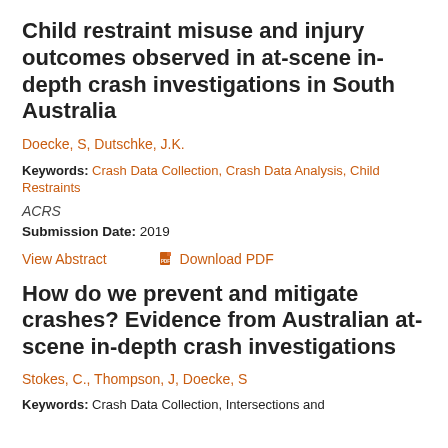Child restraint misuse and injury outcomes observed in at-scene in-depth crash investigations in South Australia
Doecke, S, Dutschke, J.K.
Keywords: Crash Data Collection, Crash Data Analysis, Child Restraints
ACRS
Submission Date: 2019
View Abstract    Download PDF
How do we prevent and mitigate crashes? Evidence from Australian at-scene in-depth crash investigations
Stokes, C., Thompson, J, Doecke, S
Keywords: Crash Data Collection, Intersections and